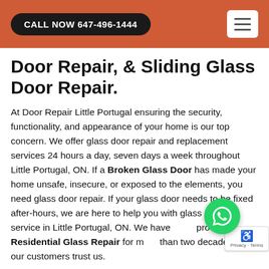CALL NOW 647-496-1444
Door Repair, & Sliding Glass Door Repair.
At Door Repair Little Portugal ensuring the security, functionality, and appearance of your home is our top concern. We offer glass door repair and replacement services 24 hours a day, seven days a week throughout Little Portugal, ON. If a Broken Glass Door has made your home unsafe, insecure, or exposed to the elements, you need glass door repair. If your glass door needs to be fixed after-hours, we are here to help you with glass door repair service in Little Portugal, ON. We have been providing Residential Glass Repair for more than two decades and our customers trust us.